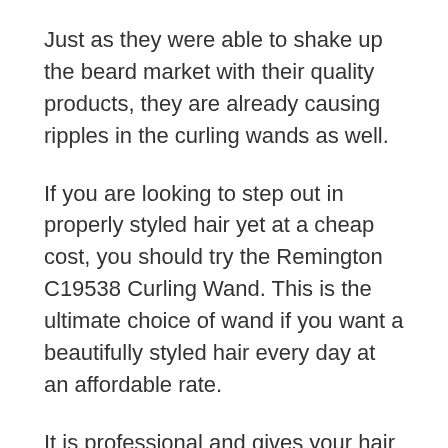Just as they were able to shake up the beard market with their quality products, they are already causing ripples in the curling wands as well.
If you are looking to step out in properly styled hair yet at a cheap cost, you should try the Remington C19538 Curling Wand. This is the ultimate choice of wand if you want a beautifully styled hair every day at an affordable rate.
It is professional and gives your hair an exciting and excellent ceramic surface. This because of its fine finishes made of real pearls that give your hair some awesome gliding looks. Additionally, the wand's smooth surface also prevents your strands from